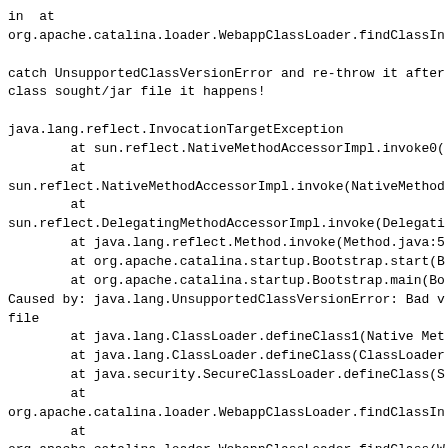in  at
org.apache.catalina.loader.WebappClassLoader.findClassIn

catch UnsupportedClassVersionError and re-throw it after
class sought/jar file it happens!

java.lang.reflect.InvocationTargetException
        at sun.reflect.NativeMethodAccessorImpl.invoke0(
        at
sun.reflect.NativeMethodAccessorImpl.invoke(NativeMethod
        at
sun.reflect.DelegatingMethodAccessorImpl.invoke(Delegati
        at java.lang.reflect.Method.invoke(Method.java:5
        at org.apache.catalina.startup.Bootstrap.start(B
        at org.apache.catalina.startup.Bootstrap.main(Bo
Caused by: java.lang.UnsupportedClassVersionError: Bad v
file
        at java.lang.ClassLoader.defineClass1(Native Met
        at java.lang.ClassLoader.defineClass(ClassLoader
        at java.security.SecureClassLoader.defineClass(S
        at
org.apache.catalina.loader.WebappClassLoader.findClassIn
        at
org.apache.catalina.loader.WebappClassLoader.findClass(W
        at
org.apache.catalina.loader.WebappClassLoader.loadClass(W
        at
org.apache.catalina.loader.WebappClassLoader.loadClass(W
        at